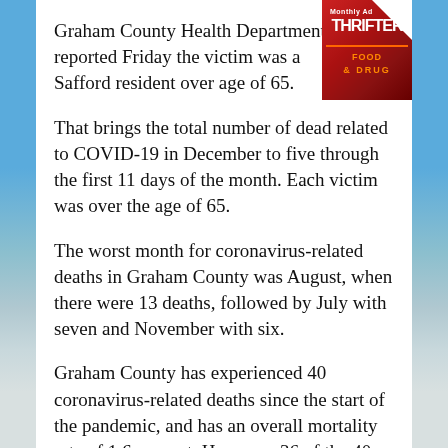Graham County Health Department reported Friday the victim was a Safford resident over age of 65.
That brings the total number of dead related to COVID-19 in December to five through the first 11 days of the month. Each victim was over the age of 65.
The worst month for coronavirus-related deaths in Graham County was August, when there were 13 deaths, followed by July with seven and November with six.
Graham County has experienced 40 coronavirus-related deaths since the start of the pandemic, and has an overall mortality rate of 1.6 percent. However, 36 of the 40 deaths have involved those over 65 and that age group's mortality rate is at